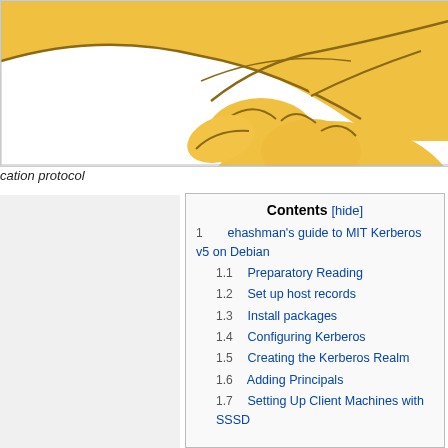[Figure (illustration): Illustration of a hand pointing with index finger, drawn in yellow/golden color style, cropped at top of page]
cation protocol
| Contents [hide] |
| --- |
| 1  ehashman's guide to MIT Kerberos v5 on Debian |
| 1.1  Preparatory Reading |
| 1.2  Set up host records |
| 1.3  Install packages |
| 1.4  Configuring Kerberos |
| 1.5  Creating the Kerberos Realm |
| 1.6  Adding Principals |
| 1.7  Setting Up Client Machines with SSSD |